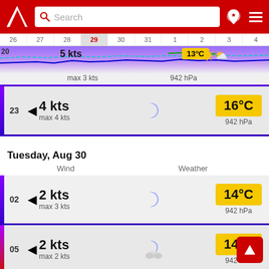Search
26 27 28 29 30 31 1 2 3 4
20  5 kts  max 3 kts  942 hPa
23  4 kts  max 4 kts  16°C  942 hPa
Tuesday, Aug 30
Wind   Weather
02  2 kts  max 3 kts  14°C  942 hPa
05  2 kts  max 2 kts  14°C  942 hPa